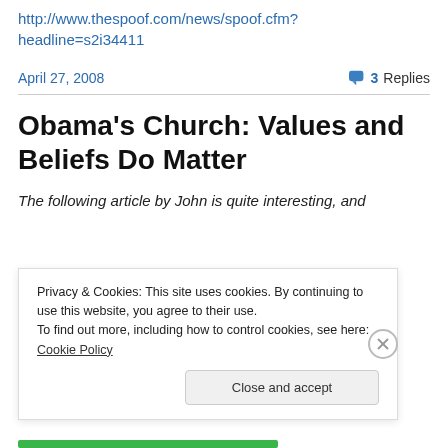http://www.thespoof.com/news/spoof.cfm?headline=s2i34411
April 27, 2008
3 Replies
Obama's Church: Values and Beliefs Do Matter
The following article by John is quite interesting, and
Privacy & Cookies: This site uses cookies. By continuing to use this website, you agree to their use. To find out more, including how to control cookies, see here: Cookie Policy
Close and accept